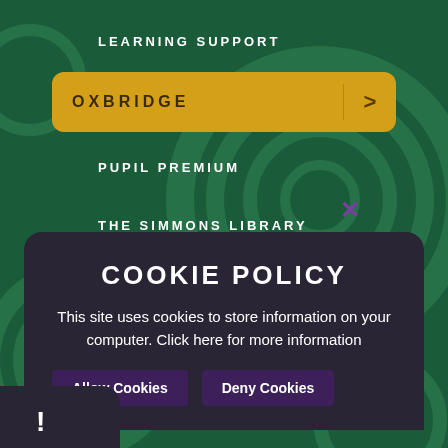LEARNING SUPPORT
OXBRIDGE
PUPIL PREMIUM
THE SIMMONS LIBRARY
COOKIE POLICY
This site uses cookies to store information on your computer. Click here for more information
Allow Cookies
Deny Cookies